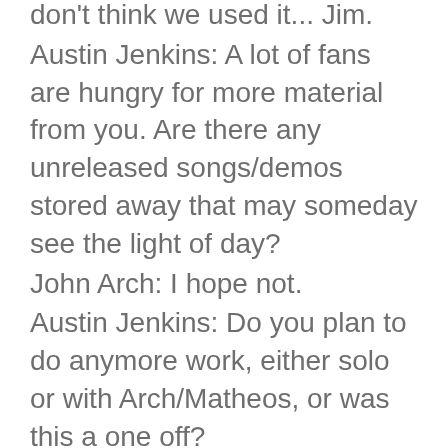don't think we used it... Jim.
Austin Jenkins: A lot of fans are hungry for more material from you. Are there any unreleased songs/demos stored away that may someday see the light of day?
John Arch: I hope not.
Austin Jenkins: Do you plan to do anymore work, either solo or with Arch/Matheos, or was this a one off?
John Arch: I always go into these things kicking and screaming in fear of failure, but the end result has been positive to date, so as long as I focus on the good.. there is always the possibility.